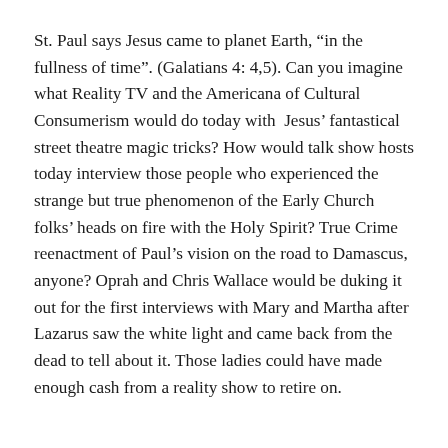St. Paul says Jesus came to planet Earth, “in the fullness of time”. (Galatians 4: 4,5). Can you imagine what Reality TV and the Americana of Cultural Consumerism would do today with Jesus’ fantastical street theatre magic tricks? How would talk show hosts today interview those people who experienced the strange but true phenomenon of the Early Church folks’ heads on fire with the Holy Spirit? True Crime reenactment of Paul’s vision on the road to Damascus, anyone? Oprah and Chris Wallace would be duking it out for the first interviews with Mary and Martha after Lazarus saw the white light and came back from the dead to tell about it. Those ladies could have made enough cash from a reality show to retire on.